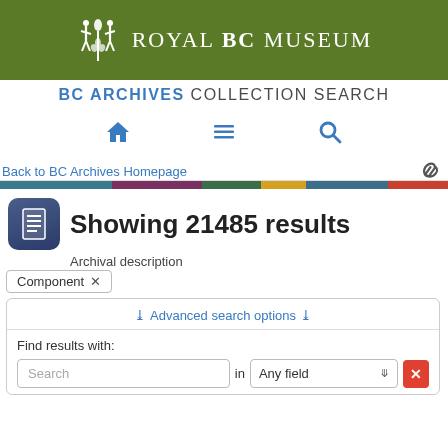[Figure (logo): Royal BC Museum logo — white figures and wheat icon on green background with text 'Royal BC Museum']
BC ARCHIVES COLLECTION SEARCH
[Figure (infographic): Navigation icons: home, hamburger menu, search (magnifying glass)]
Back to BC Archives Homepage
[Figure (infographic): Decorative color bar with segments: teal, purple, green, yellow, blue, red]
Showing 21485 results
Archival description
Component ×
Advanced search options
Find results with:
Search in Any field ×